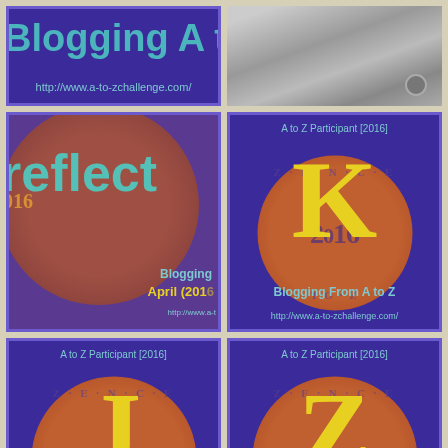[Figure (logo): A to Z Challenge blogging badge with URL http://www.a-to-zchallenge.com/ - top left banner]
[Figure (photo): Black and white outdoor photo - top right]
[Figure (logo): A to Z Challenge 2016 Reflections badge - middle left]
[Figure (logo): A to Z Participant [2016] badge with letter K, Blogging From A to Z, http://www.a-to-zchallenge.com/]
[Figure (logo): A to Z Participant [2016] badge with letter J, Blogging From A to Z, http://www.a-to-zchallenge.com/]
[Figure (logo): A to Z Participant [2016] badge with letter Z, Blogging From A to Z, http://www.a-to-zchallenge.com/]